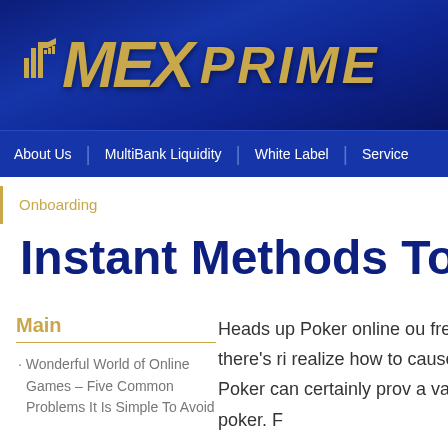[Figure (logo): MEX PRIME logo with gold stylized text and bar chart icon on dark blue background]
About Us | MultiBank Liquidity | White Label | Service
Onboarding
Instant Methods To F
Main
Wonderful World of Online Games – Five Common Problems It Is Simple To Avoid
Heads up Poker online ou fresh to the bingo, there's ri realize how to cause treatm Up Poker can certainly prov a vacation style of poker. F